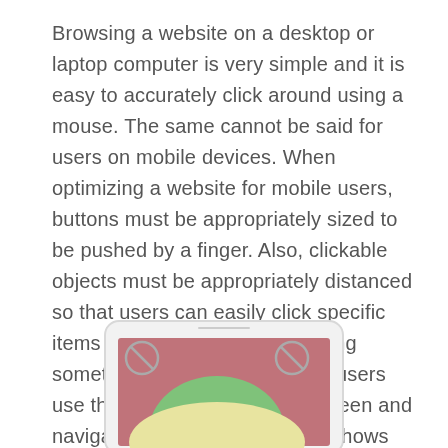Browsing a website on a desktop or laptop computer is very simple and it is easy to accurately click around using a mouse. The same cannot be said for users on mobile devices. When optimizing a website for mobile users, buttons must be appropriately sized to be pushed by a finger. Also, clickable objects must be appropriately distanced so that users can easily click specific items without accidentally clicking something else. 75% of mobile users use their thumb to touch the screen and navigate websites. This image shows the best locations to place CTAs and buttons for ease of use on mobile.
[Figure (illustration): Illustration of a smartphone shown in landscape orientation with a screen displaying a thumb reach zone diagram. The screen shows a mauve/rose background with a large green oval in the center (easy reach zone), a yellow/cream crescent shape below, and two circular 'prohibited' or 'hard to reach' icons in the upper corners. The phone has a rounded rectangle border in light gray.]